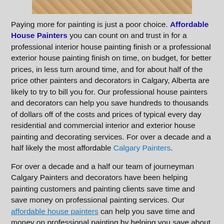[Figure (photo): Partial image strip showing painting-related scene at top of page]
Paying more for painting is just a poor choice. Affordable House Painters you can count on and trust in for a professional interior house painting finish or a professional exterior house painting finish on time, on budget, for better prices, in less turn around time, and for about half of the price other painters and decorators in Calgary, Alberta are likely to try to bill you for. Our professional house painters and decorators can help you save hundreds to thousands of dollars off of the costs and prices of typical every day residential and commercial interior and exterior house painting and decorating services. For over a decade and a half likely the most affordable Calgary Painters.
For over a decade and a half our team of journeyman Calgary Painters and decorators have been helping painting customers and painting clients save time and save money on professional painting services. Our affordable house painters can help you save time and money on professional painting by helping you save about 50% off the cost of professional house painting services and about 50% off the cost of